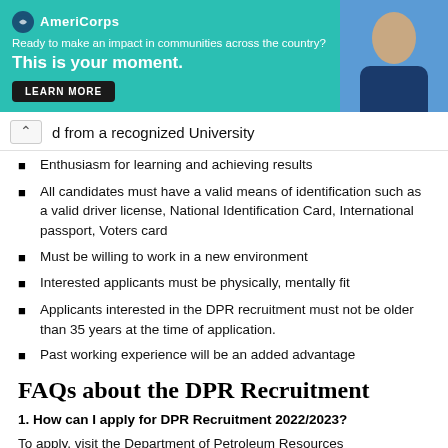[Figure (infographic): AmeriCorps banner advertisement with teal background, logo, tagline 'Ready to make an impact in communities across the country?', bold headline 'This is your moment.', LEARN MORE button, and a photo of a person on the right.]
d from a recognized University
Enthusiasm for learning and achieving results
All candidates must have a valid means of identification such as a valid driver license, National Identification Card, International passport, Voters card
Must be willing to work in a new environment
Interested applicants must be physically, mentally fit
Applicants interested in the DPR recruitment must not be older than 35 years at the time of application.
Past working experience will be an added advantage
FAQs about the DPR Recruitment
1. How can I apply for DPR Recruitment 2022/2023?
To apply, visit the Department of Petroleum Resources